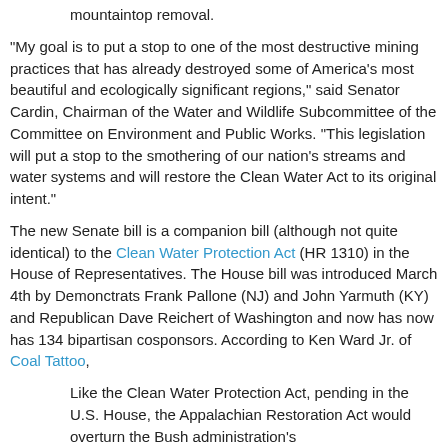mountaintop removal.
"My goal is to put a stop to one of the most destructive mining practices that has already destroyed some of America's most beautiful and ecologically significant regions," said Senator Cardin, Chairman of the Water and Wildlife Subcommittee of the Committee on Environment and Public Works. "This legislation will put a stop to the smothering of our nation's streams and water systems and will restore the Clean Water Act to its original intent."
The new Senate bill is a companion bill (although not quite identical) to the Clean Water Protection Act (HR 1310) in the House of Representatives. The House bill was introduced March 4th by Demonctrats Frank Pallone (NJ) and John Yarmuth (KY) and Republican Dave Reichert of Washington and now has now has 134 bipartisan cosponsors. According to Ken Ward Jr. of Coal Tattoo,
Like the Clean Water Protection Act, pending in the U.S. House, the Appalachian Restoration Act would overturn the Bush administration's